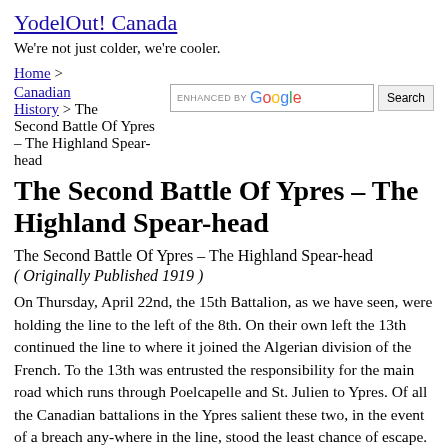YodelOut! Canada
We're not just colder, we're cooler.
Home > Canadian History > The Second Battle Of Ypres – The Highland Spear-head
The Second Battle Of Ypres – The Highland Spear-head
The Second Battle Of Ypres – The Highland Spear-head
( Originally Published 1919 )
On Thursday, April 22nd, the 15th Battalion, as we have seen, were holding the line to the left of the 8th. On their own left the 13th continued the line to where it joined the Algerian division of the French. To the 13th was entrusted the responsibility for the main road which runs through Poelcapelle and St. Julien to Ypres. Of all the Canadian battalions in the Ypres salient these two, in the event of a breach any-where in the line, stood the least chance of escape.